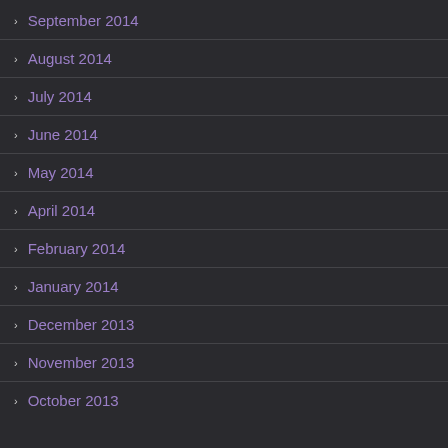September 2014
August 2014
July 2014
June 2014
May 2014
April 2014
February 2014
January 2014
December 2013
November 2013
October 2013